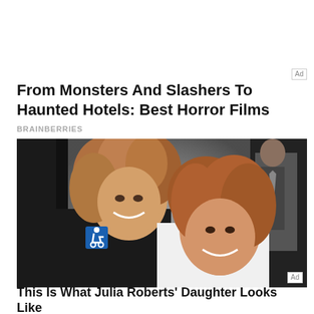From Monsters And Slashers To Haunted Hotels: Best Horror Films
BRAINBERRIES
[Figure (photo): Two women smiling together at an event; left woman has curly reddish-brown hair wearing dark clothing; right woman has straight reddish-brown hair wearing white. A wheelchair accessibility sign is visible on the left. A man in a suit is partially visible in the background on the right.]
This Is What Julia Roberts' Daughter Looks Like